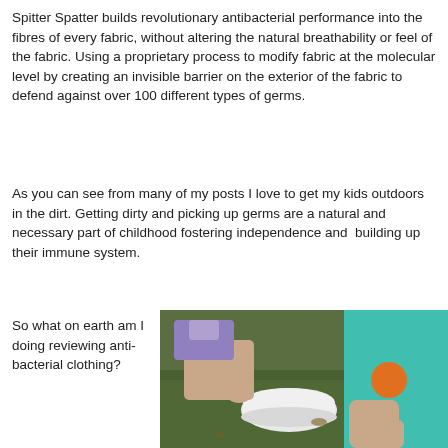Spitter Spatter builds revolutionary antibacterial performance into the fibres of every fabric, without altering the natural breathability or feel of the fabric. Using a proprietary process to modify fabric at the molecular level by creating an invisible barrier on the exterior of the fabric to defend against over 100 different types of germs.
As you can see from many of my posts I love to get my kids outdoors in the dirt. Getting dirty and picking up germs are a natural and necessary part of childhood fostering independence and  building up their immune system.
So what on earth am I doing reviewing anti-bacterial clothing?
[Figure (photo): Children sitting on grass outdoors, one wearing a teal/turquoise top with a clownfish design, a white bowl visible on the grass beside them]